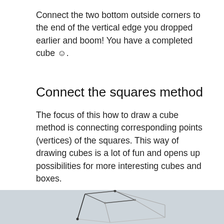Connect the two bottom outside corners to the end of the vertical edge you dropped earlier and boom! You have a completed cube ☺.
Connect the squares method
The focus of this how to draw a cube method is connecting corresponding points (vertices) of the squares. This way of drawing cubes is a lot of fun and opens up possibilities for more interesting cubes and boxes.
[Figure (illustration): A partially drawn cube sketch with dark pencil lines showing the connect-the-squares method, on a light blue-grey background. The cube is incomplete, showing two squares being connected by lines at their corresponding vertices.]